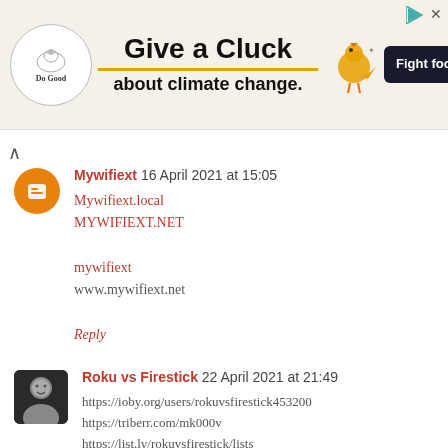[Figure (illustration): Advertisement banner: 'Give a Cluck about climate change. Fight food waste' with Do Good logo, chicken illustration, and dark button]
Mywifiext 16 April 2021 at 15:05
Mywifiext.local
MYWIFIEXT.NET

mywifiext
www.mywifiext.net

Reply
Roku vs Firestick 22 April 2021 at 21:49
https://ioby.org/users/rokuvsfirestick453200
https://triberr.com/mk000v
https://list.ly/rokuvsfirestick/lists
https://list.ly/rokuvsfirestick/lists
https://padlet.com/rokuvsfirestick/Bookmarks